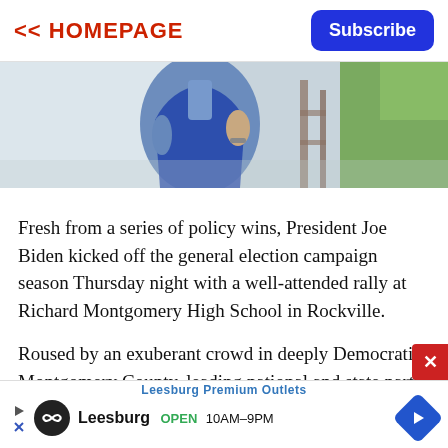<< HOMEPAGE
[Figure (photo): Partial view of a person in a blue shirt and dark jacket, standing outdoors near scaffolding and greenery.]
Fresh from a series of policy wins, President Joe Biden kicked off the general election campaign season Thursday night with a well-attended rally at Richard Montgomery High School in Rockville.
Roused by an exuberant crowd in deeply Democratic Montgomery County, leading national and state party leaders expressed growing hope for Democrats nationally in the November mid-term
[Figure (infographic): Advertisement bar: Leesburg Premium Outlets. Leesburg OPEN 10AM–9PM with logo and navigation arrow.]